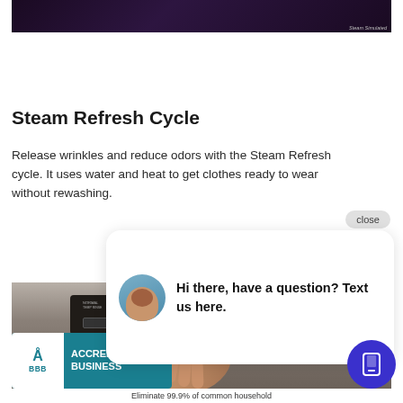[Figure (photo): Dark/purple-toned image at top of page, partially cropped, with small italic label 'Steam Simulated' in bottom right corner]
Steam Refresh Cycle
Release wrinkles and reduce odors with the Steam Refresh cycle. It uses water and heat to get clothes ready to wear without rewashing.
[Figure (screenshot): Chat widget popup overlay with close button, avatar of a woman, and text: Hi there, have a question? Text us here.]
[Figure (photo): Bottom portion of a washing machine with control panel and a hand pointing at controls]
[Figure (logo): BBB Accredited Business badge with teal/dark cyan background]
Eliminate 99.9% of common household